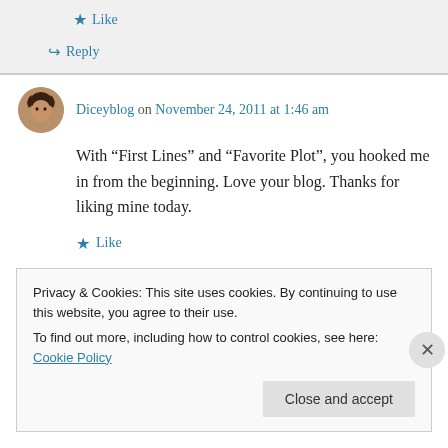★ Like
↪ Reply
Diceyblog on November 24, 2011 at 1:46 am
With “First Lines” and “Favorite Plot”, you hooked me in from the beginning. Love your blog. Thanks for liking mine today.
★ Like
Privacy & Cookies: This site uses cookies. By continuing to use this website, you agree to their use. To find out more, including how to control cookies, see here: Cookie Policy
Close and accept